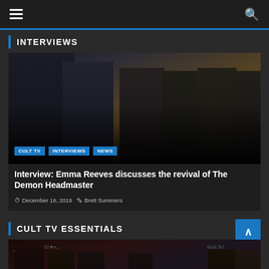Navigation header with hamburger menu and search icon
INTERVIEWS
[Figure (photo): Group photo of cast members from The Demon Headmaster reboot — an older man with glasses on the left and several young people in dark school uniforms]
CULT TV  INTERVIEWS  NEWS
Interview: Emma Reeves discusses the revival of The Demon Headmaster
December 16, 2019   Brett Summers
CULT TV ESSENTIALS
[Figure (photo): Group photo of TV cast members in front of a chalkboard with heart drawings and text]